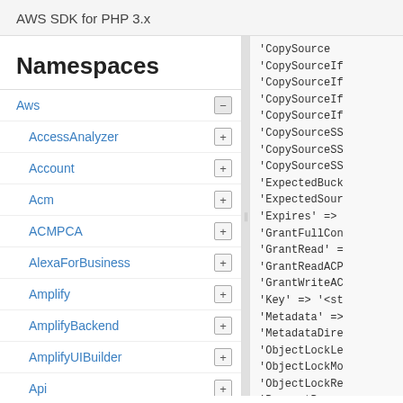AWS SDK for PHP 3.x
Namespaces
Aws
AccessAnalyzer
Account
Acm
ACMPCA
AlexaForBusiness
Amplify
AmplifyBackend
AmplifyUIBuilder
Api
ApiGateway
ApiGatewayManagementApi
'CopySource
'CopySourceIf
'CopySourceIf
'CopySourceIf
'CopySourceIf
'CopySourceSS
'CopySourceSS
'CopySourceSS
'ExpectedBuck
'ExpectedSour
'Expires' =>
'GrantFullCon
'GrantRead' =
'GrantReadACP
'GrantWriteAC
'Key' => '<st
'Metadata' =>
'MetadataDire
'ObjectLockLe
'ObjectLockMo
'ObjectLockRe
'RequestPayer